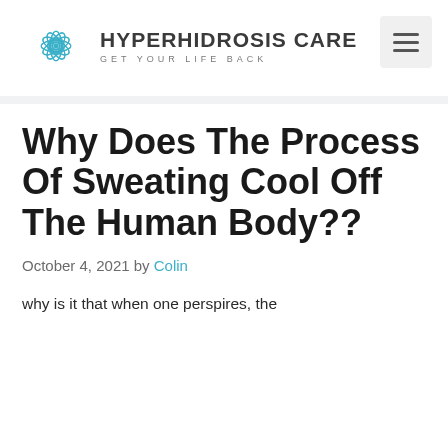[Figure (logo): Hyperhidrosis Care logo — teal geometric flower/mandala icon with text 'HYPERHIDROSIS CARE' and subtitle 'GET YOUR LIFE BACK']
Why Does The Process Of Sweating Cool Off The Human Body??
October 4, 2021 by Colin
why is it that when one perspires, the